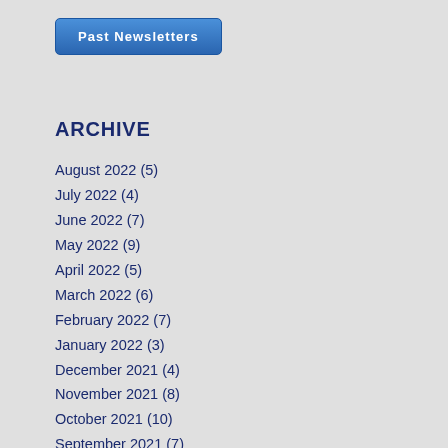Past Newsletters
ARCHIVE
August 2022 (5)
July 2022 (4)
June 2022 (7)
May 2022 (9)
April 2022 (5)
March 2022 (6)
February 2022 (7)
January 2022 (3)
December 2021 (4)
November 2021 (8)
October 2021 (10)
September 2021 (7)
August 2021 (6)
July 2021 (2)
June 2021 (6)
May 2021 (5)
April 2021 (2)